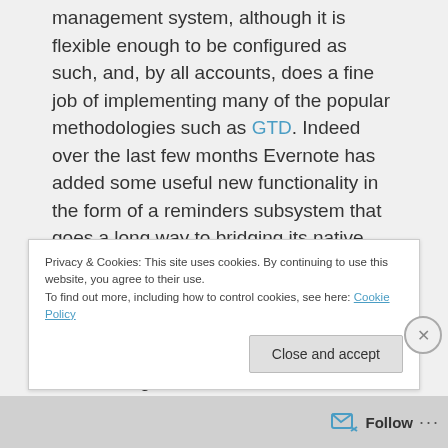management system, although it is flexible enough to be configured as such, and, by all accounts, does a fine job of implementing many of the popular methodologies such as GTD. Indeed over the last few months Evernote has added some useful new functionality in the form of a reminders subsystem that goes a long way to bridging its native task management gap.
The problem for me is that if I rely on Evernote for task management then my task management workflow is not, as it should be, a closed loop. It's leaky. Let me
Privacy & Cookies: This site uses cookies. By continuing to use this website, you agree to their use.
To find out more, including how to control cookies, see here: Cookie Policy
Close and accept
Follow